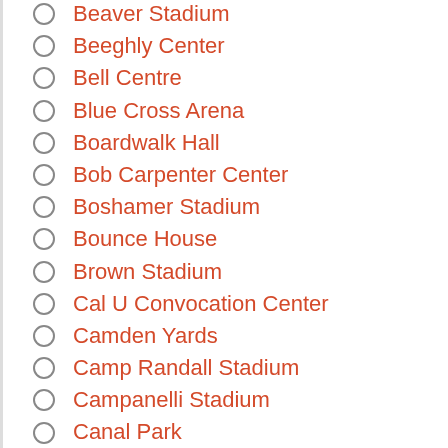Beaver Stadium
Beeghly Center
Bell Centre
Blue Cross Arena
Boardwalk Hall
Bob Carpenter Center
Boshamer Stadium
Bounce House
Brown Stadium
Cal U Convocation Center
Camden Yards
Camp Randall Stadium
Campanelli Stadium
Canal Park
Canton Memorial Civic Center
Capital One Arena